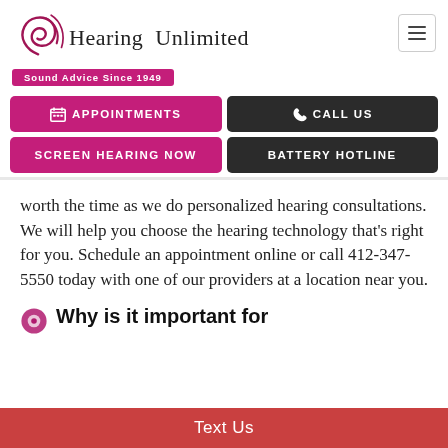[Figure (logo): Hearing Unlimited logo with stylized sound wave swirls and tagline 'Sound Advice Since 1949' on pink background]
APPOINTMENTS
CALL US
SCREEN HEARING NOW
BATTERY HOTLINE
worth the time as we do personalized hearing consultations. We will help you choose the hearing technology that's right for you. Schedule an appointment online or call 412-347-5550 today with one of our providers at a location near you.
Why is it important for
Text Us